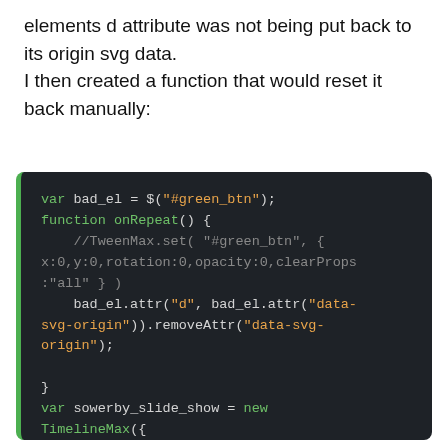elements d attribute was not being put back to its origin svg data.
I then created a function that would reset it back manually:
[Figure (screenshot): Dark-themed code block showing JavaScript code using GSAP/TweenMax with var bad_el, onRepeat function, and TimelineMax initialization]